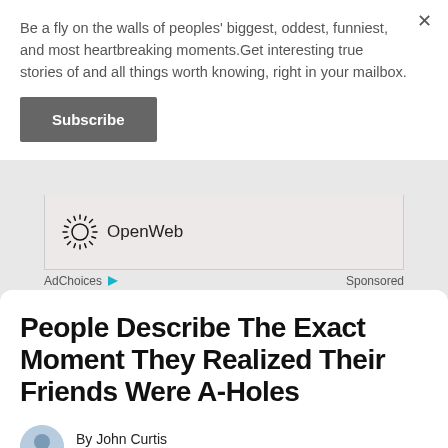Be a fly on the walls of peoples' biggest, oddest, funniest, and most heartbreaking moments.Get interesting true stories of and all things worth knowing, right in your mailbox.
Subscribe
[Figure (logo): OpenWeb logo with circular starburst icon and text 'OpenWeb']
AdChoices ▷  Sponsored
People Describe The Exact Moment They Realized Their Friends Were A-Holes
By John Curtis
September 02 | 2022